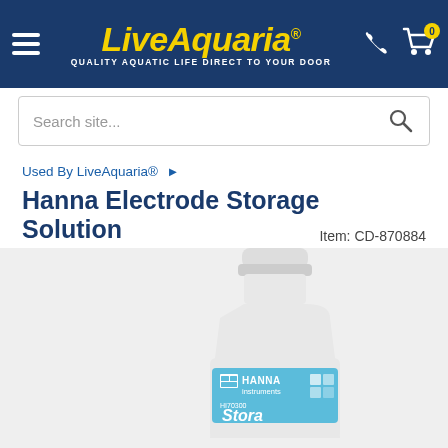LiveAquaria® - QUALITY AQUATIC LIFE DIRECT TO YOUR DOOR
Search site...
Used By LiveAquaria® ▶
Hanna Electrode Storage Solution
Item: CD-870884
[Figure (photo): Hanna Instruments HI70300 Electrode Storage Solution bottle, white plastic bottle with light blue label showing HANNA instruments logo and 'Storage' text at bottom. Overlaid with 'Used By LiveAquaria' badge in blue and yellow.]